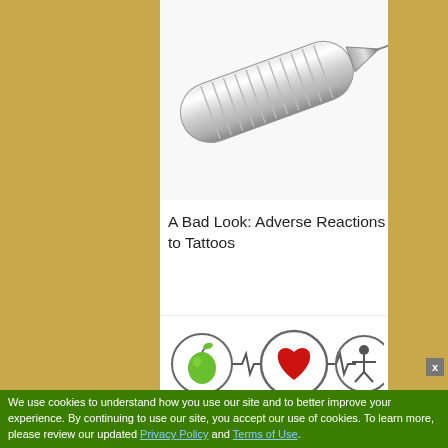[Figure (photo): Close-up photo of a tattoo needle/machine tip, metallic and silver colored, on white background]
A Bad Look: Adverse Reactions to Tattoos
[Figure (logo): Health website logo showing three circles connected by heartbeat lines: green apple, red heart, person figure]
to search type and hit enter
RELATED ARTICLES
We use cookies to understand how you use our site and to better improve your experience. By continuing to use our site, you accept our use of cookies. To learn more, please review our updated Privacy Policy and Terms of Use.